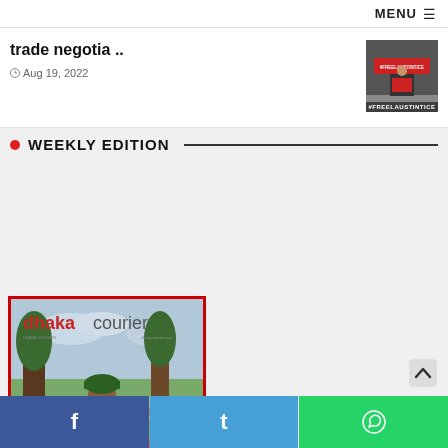MENU ≡
trade negotia ..
Aug 19, 2022
[Figure (photo): Thumbnail photo of a man at a protest with a #FREELAUSTINTICE sign]
● WEEKLY EDITION
[Figure (photo): Dhaka Courier magazine cover. Shows a woman picking tea leaves in a plantation. Red border. Headlines: Tea workers: Victims of modern slavery; Michelle Bachelet in Bangladesh; The aftermath of Pelosi's Taiwan trip; India and Pakistan: United in intolerance; Sri Lanka caught up in Sino-India rivalry; Celebrating Indonesia's Independence Day]